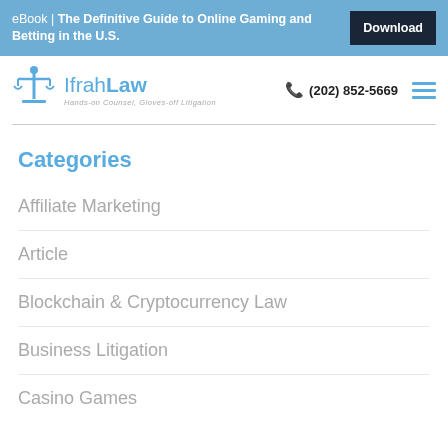eBook | The Definitive Guide to Online Gaming and Betting in the U.S. Download
[Figure (logo): IfrahLaw logo with scales of justice icon and tagline 'Hands-on Counsel, Gloves-off Litigation']
(202) 852-5669
Categories
Affiliate Marketing
Article
Blockchain & Cryptocurrency Law
Business Litigation
Casino Games